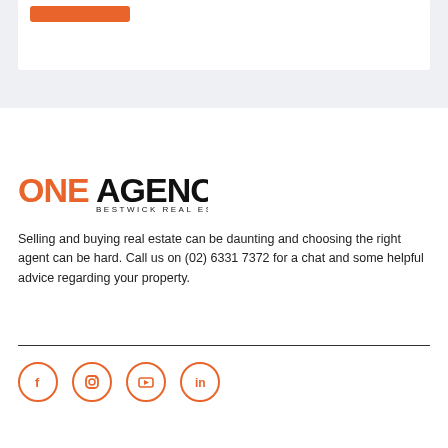[Figure (logo): One Agency Bestwick Real Estate logo — ONE in orange, AGENCY in black bold, BESTWICK REAL ESTATE in smaller black text below]
Selling and buying real estate can be daunting and choosing the right agent can be hard. Call us on (02) 6331 7372 for a chat and some helpful advice regarding your property.
[Figure (infographic): Row of four social media icons (Facebook, Instagram, YouTube, LinkedIn) in orange circle outlines]